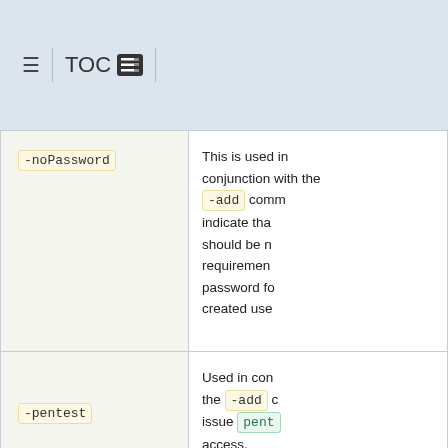TOC
| Parameter | Description |
| --- | --- |
| -noPassword | This is used in conjunction with the -add command to indicate that there should be no password requirement, i.e. no password for the created user. |
| -pentest | Used in conjunction with the -add command to issue pentest access. |
|  | Revokes the ... with the giv... |